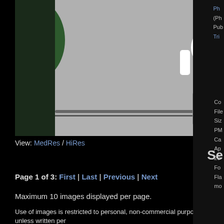[Figure (photo): A woman in a white t-shirt standing in front of a wall with large teal letters spelling SEA, with tropical plants visible in the background. She is wearing a backpack.]
View: MedRes / HiRes
Page 1 of 3: First | Last | Previous | Next
Maximum 10 images displayed per page.
Use of images is restricted to personal, non-commercial purposes unless written per info@tomsheck.com